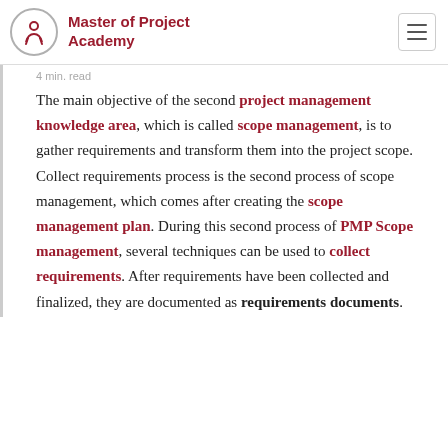Master of Project Academy
4 min. read
The main objective of the second project management knowledge area, which is called scope management, is to gather requirements and transform them into the project scope. Collect requirements process is the second process of scope management, which comes after creating the scope management plan. During this second process of PMP Scope management, several techniques can be used to collect requirements. After requirements have been collected and finalized, they are documented as requirements documents.